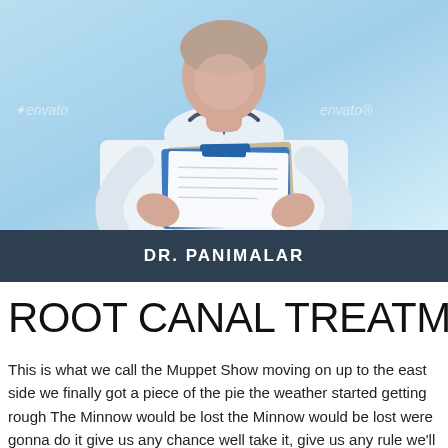[Figure (photo): A doctor in a white coat holding clipboards/folders, wearing a stethoscope around their neck. Light blue background. Stock photo with Envato watermark visible on both sides.]
DR. PANIMALAR
ROOT CANAL TREATMENT
This is what we call the Muppet Show moving on up to the east side we finally got a piece of the pie the weather started getting rough The Minnow would be lost the Minnow would be lost were gonna do it give us any chance well take it, give us any rule we'll